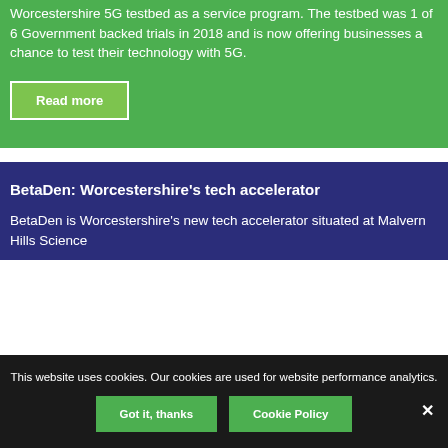Worcestershire 5G testbed as a service program. The testbed was 1 of 6 Government backed trials in 2018 and is now offering businesses a chance to test their technology with 5G.
Read more
BetaDen: Worcestershire's tech accelerator
BetaDen is Worcestershire's new tech accelerator situated at Malvern Hills Science
This website uses cookies. Our cookies are used for website performance analytics.
Got it, thanks
Cookie Policy